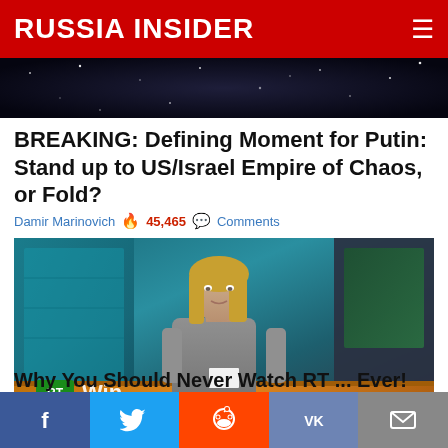RUSSIA INSIDER
[Figure (photo): Dark space/night sky background image strip at top of article]
BREAKING: Defining Moment for Putin: Stand up to US/Israel Empire of Chaos, or Fold?
Damir Marinovich 🔥 45,465 💬 Comments
[Figure (photo): RT news anchor, blonde woman in grey dress at a studio desk with RT logo visible and ticker reading: MOSCOW | FOUR CHILDREN KILLED AS ISRAEL RESUMES BOMBARDMENT OF #GAZA]
Why You Should Never Watch RT ... Ever!
Social share buttons: Facebook, Twitter, Reddit, VK, Email